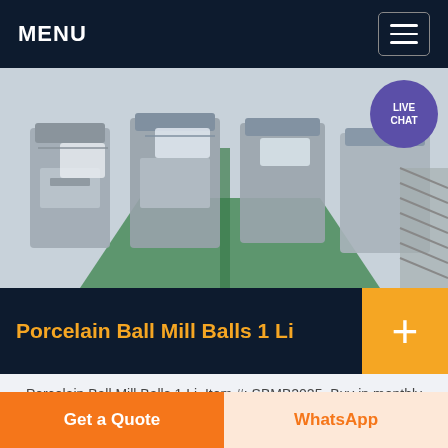MENU
[Figure (photo): Factory floor with industrial ball mill machinery, overhead view showing multiple machines on green-painted floor. LIVE CHAT bubble visible in top-right corner.]
Porcelain Ball Mill Balls 1 Li
Porcelain Ball Mill Balls 1 Li. Item #: SBMB2025. Buy in monthly payments with Affirm on orders over 50. Learn more. Available Options:
[Figure (photo): Bottom strip showing three partial product images side by side: metallic surface, dark cylindrical balls, green machinery component.]
Get a Quote
WhatsApp